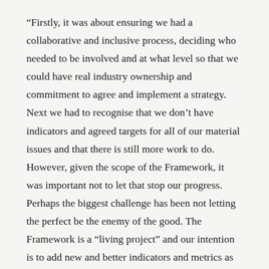“Firstly, it was about ensuring we had a collaborative and inclusive process, deciding who needed to be involved and at what level so that we could have real industry ownership and commitment to agree and implement a strategy. Next we had to recognise that we don’t have indicators and agreed targets for all of our material issues and that there is still more work to do. However, given the scope of the Framework, it was important not to let that stop our progress. Perhaps the biggest challenge has been not letting the perfect be the enemy of the good. The Framework is a “living project” and our intention is to add new and better indicators and metrics as they develop.”